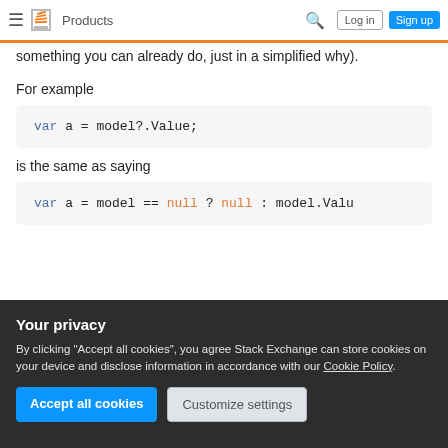Stack Exchange — Products | Log in | Sign up
something you can already do, just in a simplified why).
For example
var a = model?.Value;
is the same as saying
var a = model == null ? null : model.Valu
Your privacy
By clicking "Accept all cookies", you agree Stack Exchange can store cookies on your device and disclose information in accordance with our Cookie Policy.
[Accept all cookies] [Customize settings]
The type of member (Method, Field, Property,